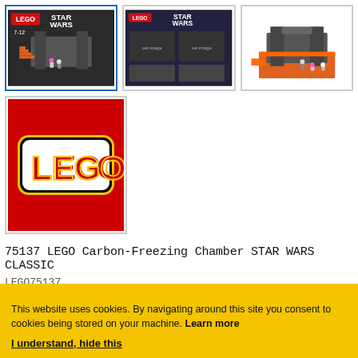[Figure (photo): LEGO Star Wars Carbon-Freezing Chamber box art - selected thumbnail with blue border]
[Figure (photo): LEGO Star Wars set box art - second thumbnail]
[Figure (photo): LEGO Star Wars Carbon-Freezing Chamber physical set - third thumbnail]
[Figure (logo): LEGO logo on red background - fourth thumbnail]
75137 LEGO Carbon-Freezing Chamber STAR WARS CLASSIC
LEGO75137
This website uses cookies. By navigating around this site you consent to cookies being stored on your machine. Learn more
I understand, hide this